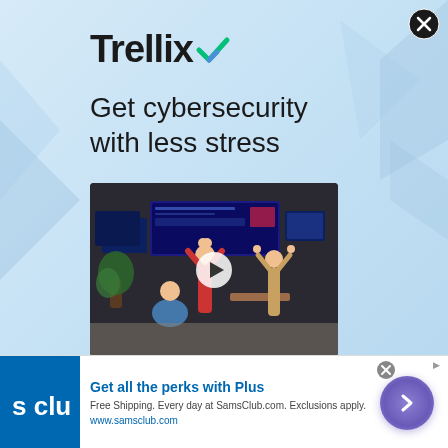[Figure (screenshot): Trellix advertisement with light blue gradient background. Top section shows the Trellix logo with a checkmark, headline 'Get cybersecurity with less stress', a video thumbnail showing people doing yoga poses in a tech operations center with a play button, and body text 'Simplify security, streamline operations, and help SecOps breathe easier with Trellix'. A close (X) button appears in the top right. Bottom banner ad for Sam's Club with blue logo, text 'Get all the perks with Plus', 'Free Shipping. Every day at SamsClub.com. Exclusions apply.' and 'www.samsclub.com', plus a purple arrow button.]